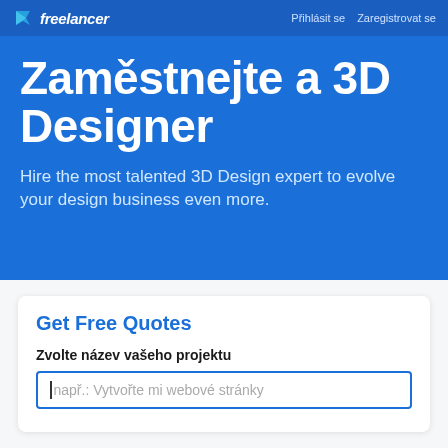freelancer  Přihlásit se  Zaregistrovat se
Zaměstnejte a 3D Designer
Hire the most talented 3D Design expert to evolve your design business even more.
Get Free Quotes
Zvolte název vašeho projektu
např.: Vytvořte mi webové stránky